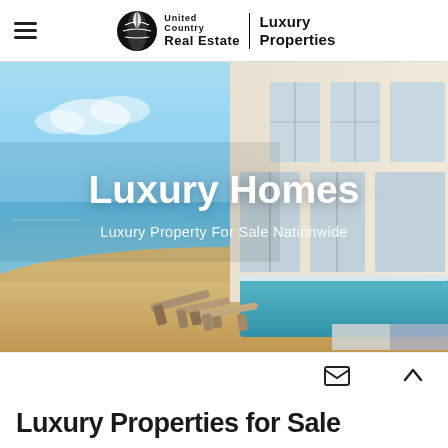United Country Real Estate | Luxury Properties
[Figure (photo): Hero image of a luxury beachfront home with pool, lounge chairs on sandy beach, blue sky and ocean in background. Bold white text overlay reads 'Luxury Homes' and subtitle 'Luxury Property For Sale Nationwide'.]
Luxury Homes
Luxury Property For Sale Nationwide
Luxury Properties for Sale